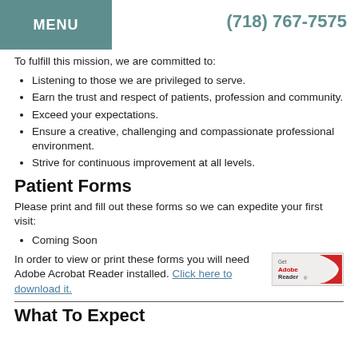MENU | (718) 767-7575
To fulfill this mission, we are committed to:
Listening to those we are privileged to serve.
Earn the trust and respect of patients, profession and community.
Exceed your expectations.
Ensure a creative, challenging and compassionate professional environment.
Strive for continuous improvement at all levels.
Patient Forms
Please print and fill out these forms so we can expedite your first visit:
Coming Soon
In order to view or print these forms you will need Adobe Acrobat Reader installed. Click here to download it.
[Figure (logo): Get Adobe Reader badge/logo]
What To Expect